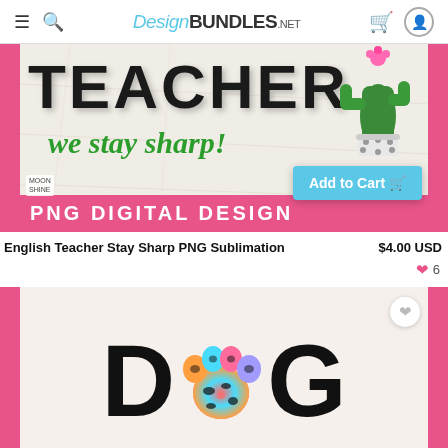DesignBUNDLES.NET — navigation header with hamburger menu, search, logo, bag and user icons
[Figure (photo): Product image for English Teacher Stay Sharp PNG Sublimation. Shows large text TEACHER with 'we stay sharp!' in green cursive script, a cactus in a polka-dot pot, pink wooden planks on sides, pink banner at bottom reading PNG DIGITAL DESIGN, and an Add to Cart button overlay with shopping bag icon.]
English Teacher Stay Sharp PNG Sublimation
$4.00 USD
♥ 6
[Figure (photo): Product image showing DOG text design where the O is replaced by a colorful rainbow leopard print paw print. Letters D and G are large black bold letters. Pink wooden planks on sides. White heart/favorite button in top right corner.]